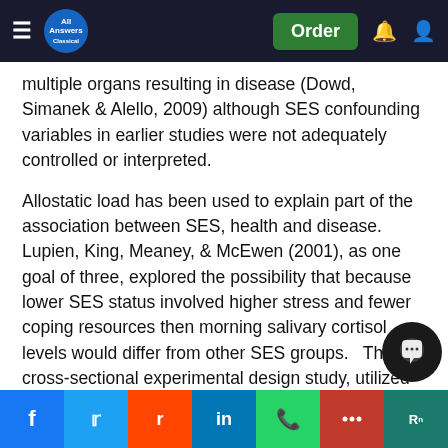All Answers — navigation bar with Order button
multiple organs resulting in disease (Dowd, Simanek & Alello, 2009) although SES confounding variables in earlier studies were not adequately controlled or interpreted.
Allostatic load has been used to explain part of the association between SES, health and disease.  Lupien, King, Meaney, & McEwen (2001), as one goal of three, explored the possibility that because lower SES status involved higher stress and fewer coping resources then morning salivary cortisol levels would differ from other SES groups.   The cross-sectional experimental design study, utilized 307 children from a school setting, with 6 age groups (6-16 years old) and two categories (low and h... of SES.   Overall findings showed that lower SES in children related to higher cortisol levels with the impact of SES on co...g...hool.